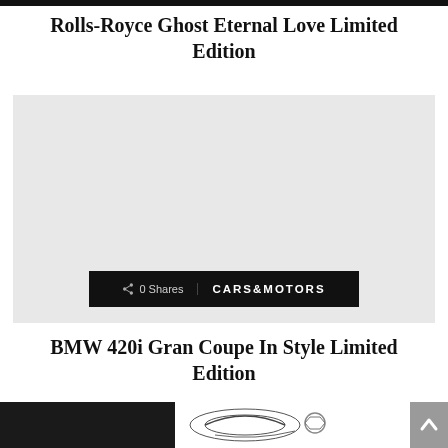Rolls-Royce Ghost Eternal Love Limited Edition
[Figure (photo): Large light gray placeholder image area with a social share overlay bar at the bottom showing '0 Shares' and 'CARS&MOTORS' branding on a black background]
BMW 420i Gran Coupe In Style Limited Edition
[Figure (photo): Partial bottom photo showing dark left panel and automotive graphic/logo on light background, with a gray scroll-to-top button on the right]